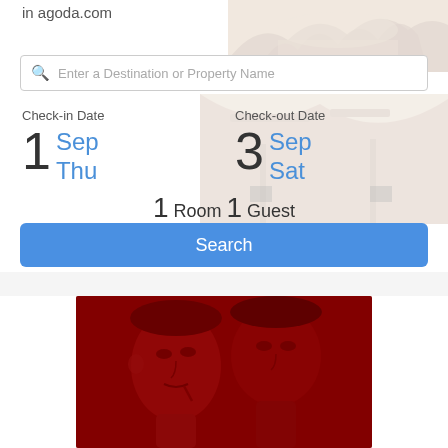in agoda.com
[Figure (photo): Background hero image of thatched roof structure, partially visible at top right]
Enter a Destination or Property Name
Check-in Date: 1 Sep Thu
Check-out Date: 3 Sep Sat
1 Room 1 Guest
Search
[Figure (photo): Red-tinted photo of a couple, romantic scene with dark red overlay]